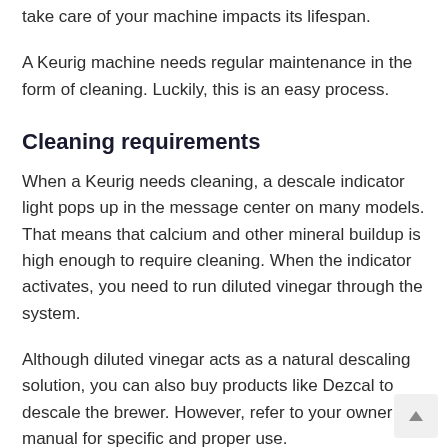take care of your machine impacts its lifespan.
A Keurig machine needs regular maintenance in the form of cleaning. Luckily, this is an easy process.
Cleaning requirements
When a Keurig needs cleaning, a descale indicator light pops up in the message center on many models. That means that calcium and other mineral buildup is high enough to require cleaning. When the indicator activates, you need to run diluted vinegar through the system.
Although diluted vinegar acts as a natural descaling solution, you can also buy products like Dezcal to descale the brewer. However, refer to your owner manual for specific and proper use.